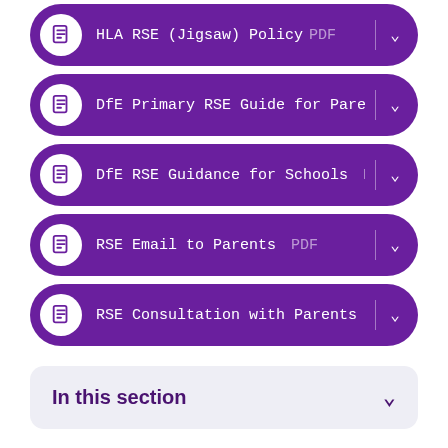HLA RSE (Jigsaw) Policy PDF
DfE Primary RSE Guide for Parent...
DfE RSE Guidance for Schools PD...
RSE Email to Parents PDF
RSE Consultation with Parents ...
In this section